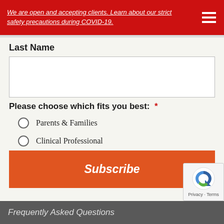We are open and accepting clients. Learn about our strict safety precautions during COVID-19.
Last Name
Please choose which fits you best:  *
Parents & Families
Clinical Professional
Subscribe
Quick Links
Frequently Asked Questions